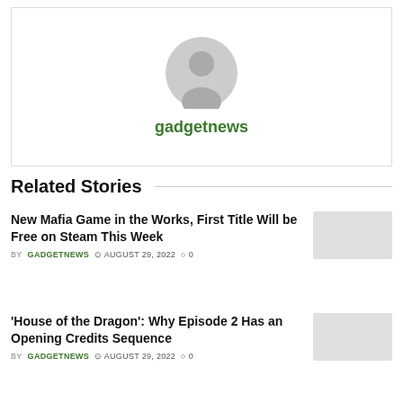[Figure (illustration): Generic user avatar placeholder - gray silhouette of a person on white background with border]
gadgetnews
Related Stories
New Mafia Game in the Works, First Title Will be Free on Steam This Week
BY GADGETNEWS  © AUGUST 29, 2022  ○0
'House of the Dragon': Why Episode 2 Has an Opening Credits Sequence
BY GADGETNEWS  © AUGUST 29, 2022  ○0